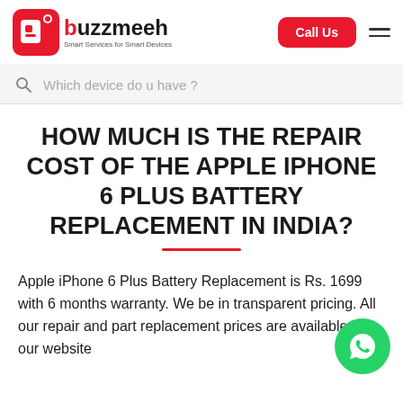buzzmeeh — Smart Services for Smart Devices | Call Us
Which device do u have ?
HOW MUCH IS THE REPAIR COST OF THE APPLE IPHONE 6 PLUS BATTERY REPLACEMENT IN INDIA?
Apple iPhone 6 Plus Battery Replacement is Rs. 1699 with 6 months warranty. We be in transparent pricing. All our repair and part replacement prices are available on our website